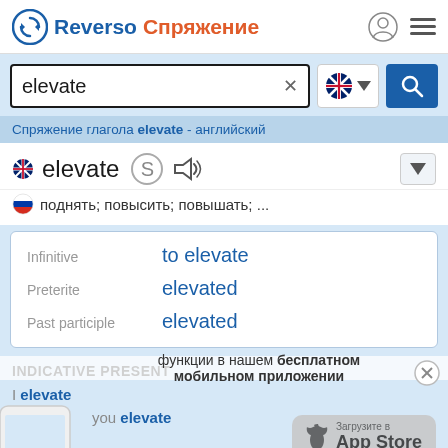Reverso Спряжение
elevate
Спряжение глагола elevate - английский
elevate
поднять; повысить; повышать; ...
| Form | Value |
| --- | --- |
| Infinitive | to elevate |
| Preterite | elevated |
| Past participle | elevated |
INDICATIVE PRESENT
функции в нашем бесплатном мобильном приложении
I elevate
you elevate
he/she/it elevates